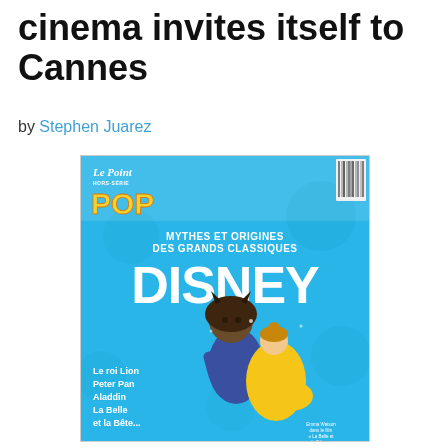cinema invites itself to Cannes
by Stephen Juarez
[Figure (photo): Cover of Le Point POP magazine special issue about Disney classics - 'Mythes et origines des grands classiques Disney' featuring Beauty and the Beast live-action characters dancing, with text listing Le roi Lion, Peter Pan, Aladdin, La Belle et la Bête...]